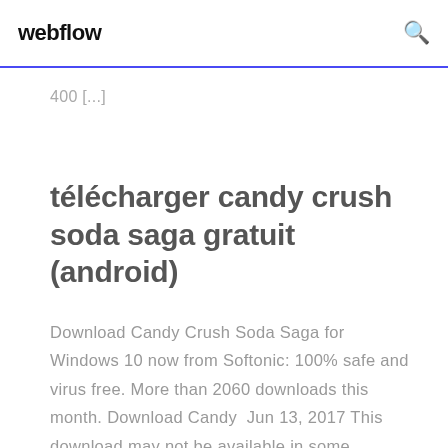webflow
400 [...]
télécharger candy crush soda saga gratuit (android)
Download Candy Crush Soda Saga for Windows 10 now from Softonic: 100% safe and virus free. More than 2060 downloads this month. Download Candy  Jun 13, 2017 This download may not be available in some countries. Key Details of Candy Crush Soda Saga for Windows 10. Enjoy the game with divine  Oct 30, 2019 If you are a fan of Candy Crush game and want to